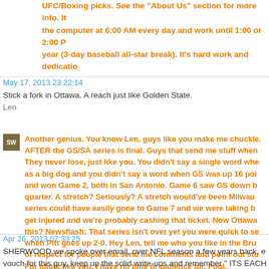UFC/Boxing picks. See the "About Us" section for more info. It... the computer at 6:00 AM every day and work until 1:00 or 2:00 P... year (3-day baseball all-star break). It's hard work and dedicatio...
May 17, 2013 23:22:14
Stick a fork in Ottawa. A reach just like Golden State.
Len
Another genius. You know Len, guys like you make me chuckle. AFTER the GS/SA series is final. Guys that send me stuff when ... They never lose, just like you. You didn't say a single word wher... as a big dog and you didn't say a word when GS was up 16 poin... and won Game 2, both in San Antonio. Game 6 saw GS down by... quarter. A stretch? Seriously? A stretch would've been Milwauks... series could have easily gone to Game 7 and we were taking ba... get injured and we're probably cashing that ticket. Now Ottawa i... this? Newsflash: That series isn't over yet you were quick to ser... when Pitt goes up 2-0. Hey Len, tell me who you like in the Bruir... of respect for people that send me comments and point out stuf... For idiots like you, I have no time or patience for. Fool.
Apr 26, 2013 07:33:25
SHERWOOD we spoke over email, over NFL season a few years back, e... vouch for this guy, keep up the solid write-ups and remember " ITS EACH... responsibility to pull the trigger or not, " may your write-ups continue to pr... pri·mo (prm) n. pl. pri·mi (-m) adj. 1. First. 2. Slang a. Exceptionally good... most valuable.
this is PRIMO